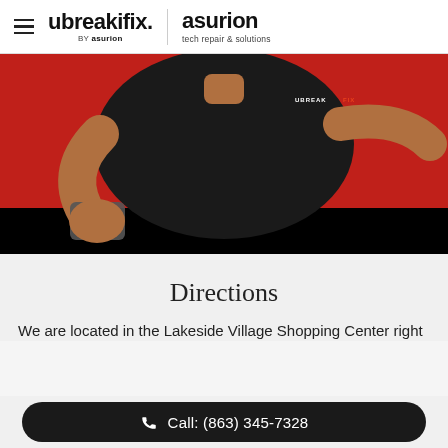[Figure (logo): ubreakifix by asurion logo and asurion tech repair & solutions logo with hamburger menu icon]
[Figure (photo): Technician in black ubreakifix shirt holding a smartphone against a red wall background with black bottom bar]
Directions
We are located in the Lakeside Village Shopping Center right
Call: (863) 345-7328